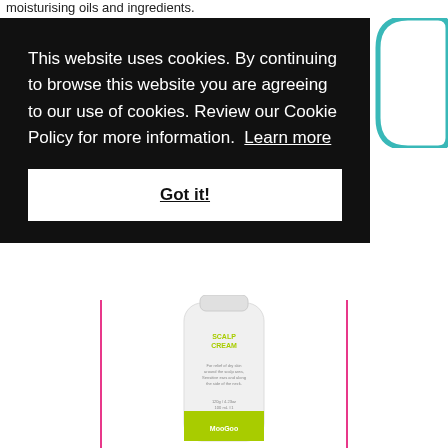moisturising oils and ingredients.
This website uses cookies. By continuing to browse this website you are agreeing to our use of cookies. Review our Cookie Policy for more information.  Learn more
Got it!
[Figure (photo): White tube of MooGoo Scalp Cream with green label at the bottom, displayed between two vertical pink lines.]